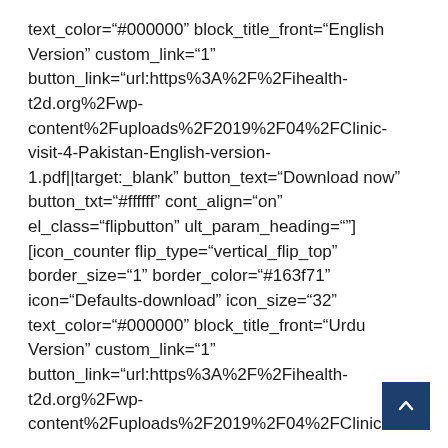text_color="#000000" block_title_front="English Version" custom_link="1" button_link="url:https%3A%2F%2Fihealth-t2d.org%2Fwp-content%2Fuploads%2F2019%2F04%2FClinic-visit-4-Pakistan-English-version-1.pdf||target:_blank" button_text="Download now" button_txt="#ffffff" cont_align="on" el_class="flipbutton" ult_param_heading=""] [icon_counter flip_type="vertical_flip_top" border_size="1" border_color="#163f71" icon="Defaults-download" icon_size="32" text_color="#000000" block_title_front="Urdu Version" custom_link="1" button_link="url:https%3A%2F%2Fihealth-t2d.org%2Fwp-content%2Fuploads%2F2019%2F04%2FClinic-